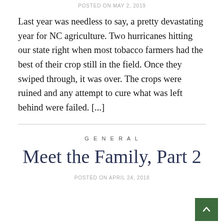POSTED ON MAY 2, 2019
Last year was needless to say, a pretty devastating year for NC agriculture. Two hurricanes hitting our state right when most tobacco farmers had the best of their crop still in the field. Once they swiped through, it was over. The crops were ruined and any attempt to cure what was left behind were failed. [...]
GENERAL
Meet the Family, Part 2
POSTED ON APRIL 24, 2018